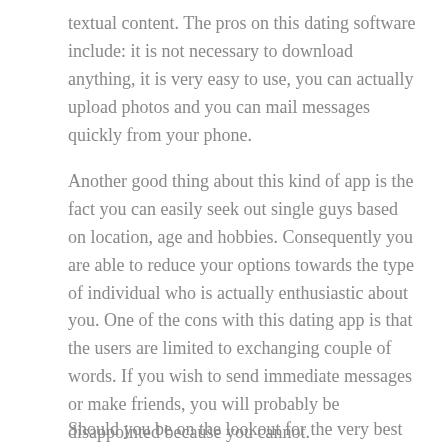textual content. The pros on this dating software include: it is not necessary to download anything, it is very easy to use, you can actually upload photos and you can mail messages quickly from your phone.
Another good thing about this kind of app is the fact you can easily seek out single guys based on location, age and hobbies. Consequently you are able to reduce your options towards the type of individual who is actually enthusiastic about you. One of the cons with this dating app is that the users are limited to exchanging couple of words. If you wish to send immediate messages or make friends, you will probably be disappointed because you cannot.
Should you be on the lookout for the very best